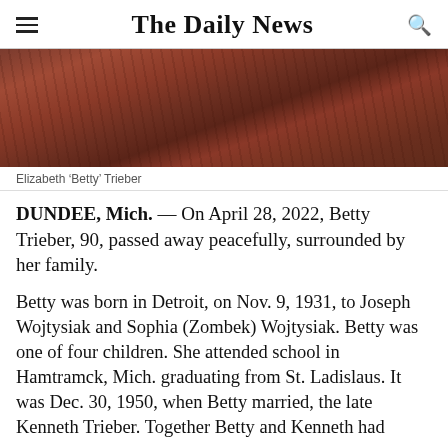The Daily News
[Figure (photo): Close-up photograph of elderly hands, showing aged skin with reddish-brown tones, likely clasped or resting.]
Elizabeth ‘Betty’ Trieber
DUNDEE, Mich. — On April 28, 2022, Betty Trieber, 90, passed away peacefully, surrounded by her family.
Betty was born in Detroit, on Nov. 9, 1931, to Joseph Wojtysiak and Sophia (Zombek) Wojtysiak. Betty was one of four children. She attended school in Hamtramck, Mich. graduating from St. Ladislaus. It was Dec. 30, 1950, when Betty married, the late Kenneth Trieber. Together Betty and Kenneth had...